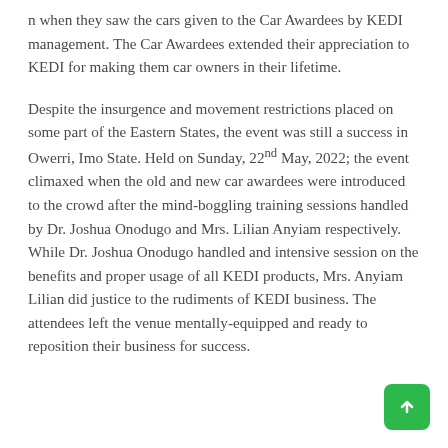n when they saw the cars given to the Car Awardees by KEDI management. The Car Awardees extended their appreciation to KEDI for making them car owners in their lifetime.
Despite the insurgence and movement restrictions placed on some part of the Eastern States, the event was still a success in Owerri, Imo State. Held on Sunday, 22nd May, 2022; the event climaxed when the old and new car awardees were introduced to the crowd after the mind-boggling training sessions handled by Dr. Joshua Onodugo and Mrs. Lilian Anyiam respectively. While Dr. Joshua Onodugo handled and intensive session on the benefits and proper usage of all KEDI products, Mrs. Anyiam Lilian did justice to the rudiments of KEDI business. The attendees left the venue mentally-equipped and ready to reposition their business for success.